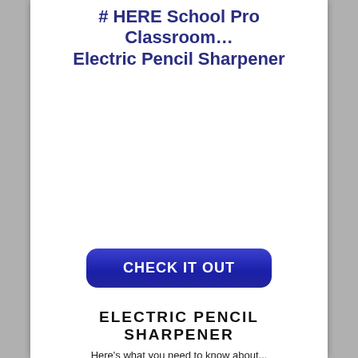# HERE School Pro Classroom… Electric Pencil Sharpener
[Figure (photo): Product image area (white/blank area showing electric pencil sharpener product)]
CHECK IT OUT
ELECTRIC PENCIL SHARPENER
Here's what you need to know about...